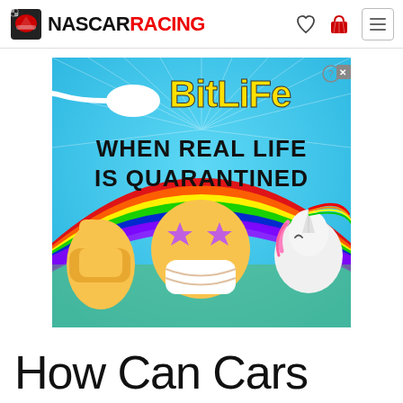NASCAR RACING
[Figure (screenshot): BitLife advertisement banner: 'WHEN REAL LIFE IS QUARANTINED' with colorful emoji and unicorn on rainbow background]
How Can Cars